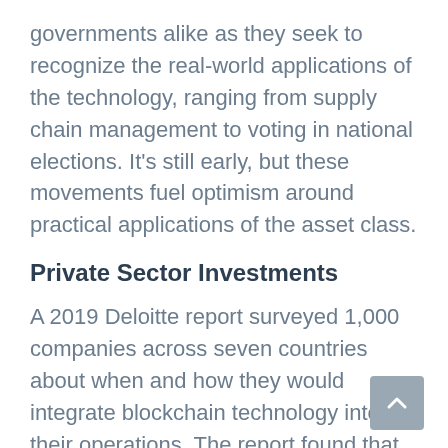governments alike as they seek to recognize the real-world applications of the technology, ranging from supply chain management to voting in national elections. It's still early, but these movements fuel optimism around practical applications of the asset class.
Private Sector Investments
A 2019 Deloitte report surveyed 1,000 companies across seven countries about when and how they would integrate blockchain technology into their operations. The report found that 34% of respondents already had a blockchain system in production, while another 41% anticipated blockchain development in 2020.